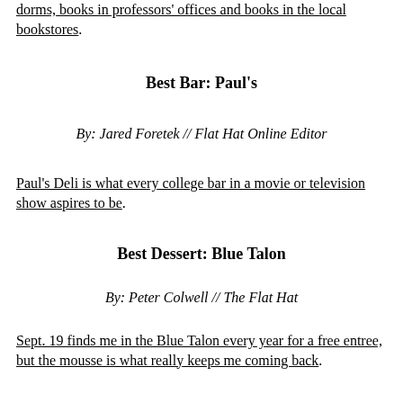dorms, books in professors' offices and books in the local bookstores.
Best Bar: Paul's
By: Jared Foretek // Flat Hat Online Editor
Paul's Deli is what every college bar in a movie or television show aspires to be.
Best Dessert: Blue Talon
By: Peter Colwell // The Flat Hat
Sept. 19 finds me in the Blue Talon every year for a free entree, but the mousse is what really keeps me coming back.